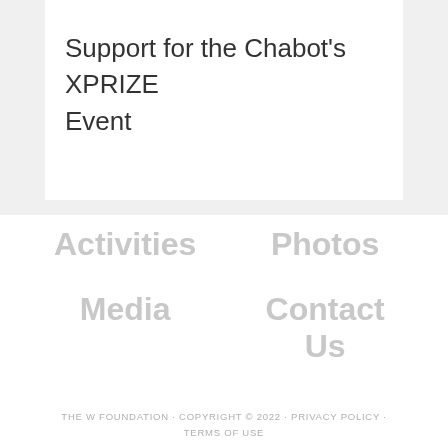Support for the Chabot’s XPRIZE Event
Activities
Photos
Media
Contact Us
THE W FOUNDATION · COPYRIGHT © 2022 · PRIVACY POLICY · TERMS OF USE